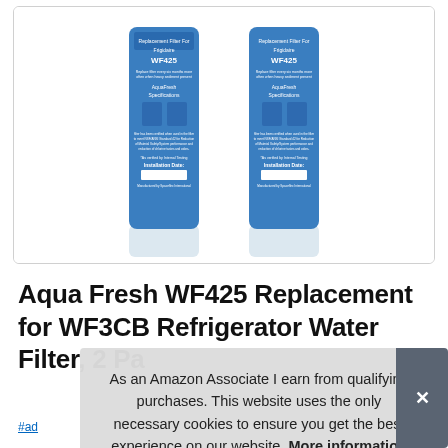[Figure (photo): Two blue cylindrical Aqua Fresh WF425 replacement water filter bottles side by side, showing product labels with text 'Replacement Filter For Frigidaire WF425', 'AquaFresh Specifications', 'Installation Date', inside a rounded-corner product image box]
Aqua Fresh WF425 Replacement for WF3CB Refrigerator Water Filter, 2 Pack
As an Amazon Associate I earn from qualifying purchases. This website uses the only necessary cookies to ensure you get the best experience on our website. More information
#ad